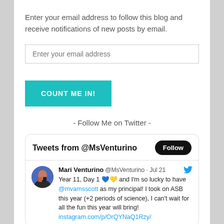Enter your email address to follow this blog and receive notifications of new posts by email.
Enter your email address
COUNT ME IN!
- Follow Me on Twitter -
[Figure (screenshot): Twitter widget showing Tweets from @MsVenturino with a Follow button, and a tweet from Mari Venturino @MsVenturino on Jul 21 reading: Year 11, Day 1 💙💛 and I'm so lucky to have @mvamsscott as my principal! I took on ASB this year (+2 periods of science), I can't wait for all the fun this year will bring! instagram.com/p/OrQYNaQ1Rzy/]